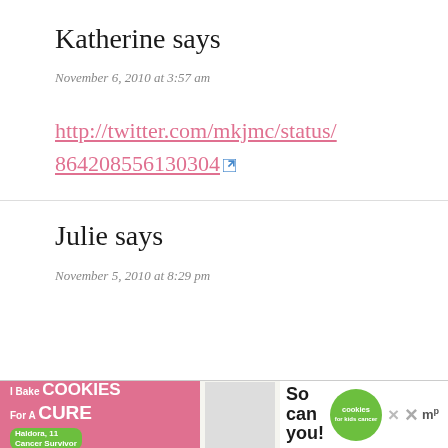Katherine says
November 6, 2010 at 3:57 am
http://twitter.com/mkjmc/status/864208556130304
Julie says
November 5, 2010 at 8:29 pm
[Figure (other): Advertisement banner: I Bake COOKIES For A CURE - Haldora, 11 Cancer Survivor - So can you! - cookies for kids cancer logo]